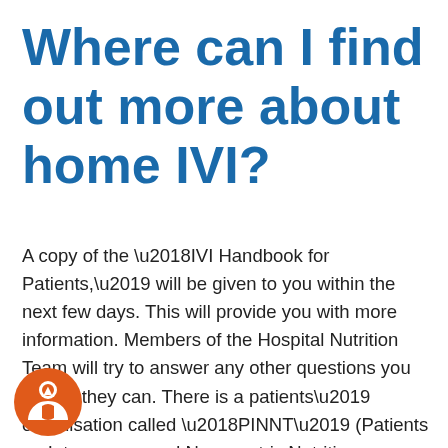Where can I find out more about home IVI?
A copy of the ‘IVI Handbook for Patients,’ will be given to you within the next few days. This will provide you with more information. Members of the Hospital Nutrition Team will try to answer any other questions you have if they can. There is a patients’ organisation called ‘PINNT’ (Patients on Intravenous and Nasogastric Nutrition Therapy) which publishes a newsletter and other useful information. They can be contacted on: